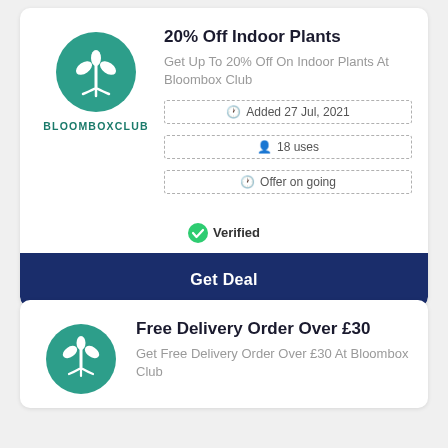[Figure (logo): Bloombox Club logo: teal circle with white plant/leaf icon, text BLOOMBOXCLUB below in teal]
20% Off Indoor Plants
Get Up To 20% Off On Indoor Plants At Bloombox Club
Added 27 Jul, 2021
18 uses
Offer on going
Verified
Get Deal
[Figure (logo): Bloombox Club logo: partial teal circle with white plant/leaf icon]
Free Delivery Order Over £30
Get Free Delivery Order Over £30 At Bloombox Club